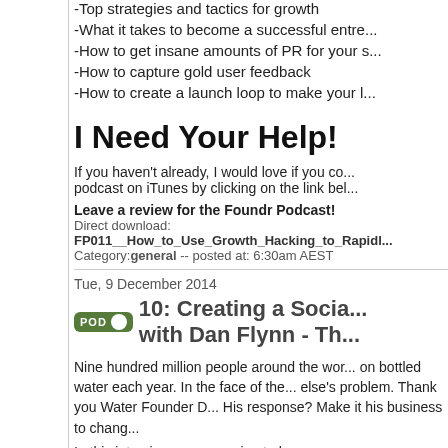-Top strategies and tactics for growth
-What it takes to become a successful entre...
-How to get insane amounts of PR for your s...
-How to capture gold user feedback
-How to create a launch loop to make your l...
I Need Your Help!
If you haven't already, I would love if you co... podcast on iTunes by clicking on the link be...
Leave a review for the Foundr Podcast!
Direct download:
FP011__How_to_Use_Growth_Hacking_to_Rapidl...
Category:general -- posted at: 6:30am AEST
Tue, 9 December 2014
10: Creating a Socia... with Dan Flynn - Th...
Nine hundred million people around the wor... on bottled water each year. In the face of the... else's problem. Thank you Water Founder D... His response? Make it his business to chang...
In this interview you are going to learn: